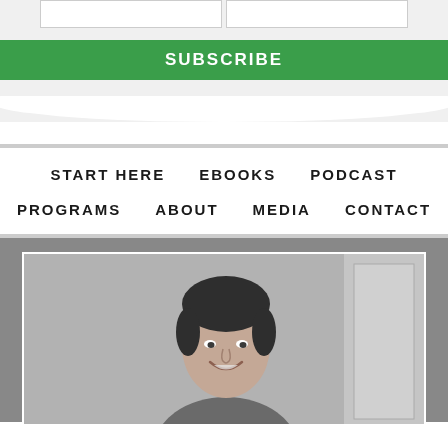[Figure (screenshot): Subscribe form with two input boxes and a green SUBSCRIBE button on a light grey background]
START HERE   EBOOKS   PODCAST
PROGRAMS   ABOUT   MEDIA   CONTACT
[Figure (photo): Black and white photo of a smiling man with dark hair, shown from the chest up, with a blurred wall background]